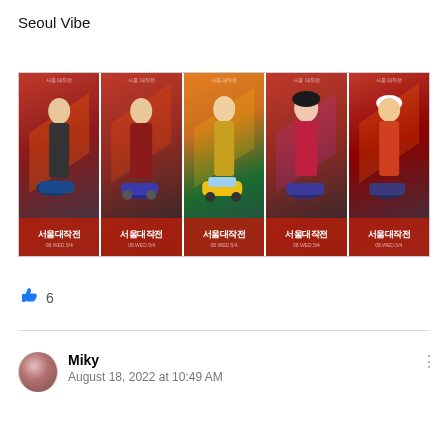Seoul Vibe
[Figure (photo): Five character movie posters for Seoul Vibe, each showing a different cast member against a retro red/orange background with Korean text '서울대작전' at the bottom. The posters are arranged in a horizontal strip.]
6
Miky
August 18, 2022 at 10:49 AM